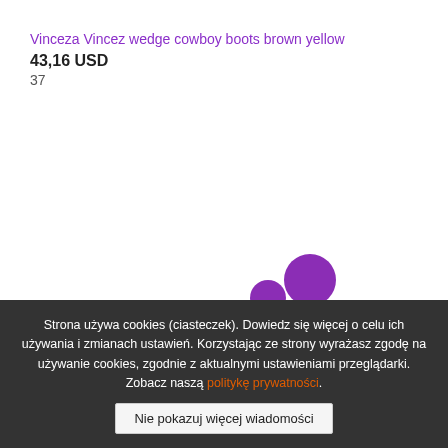Vinceza Vincez wedge cowboy boots brown yellow
43,16 USD
37
[Figure (other): Animated loading indicator with purple circles of varying sizes arranged in a bouncing dot pattern]
Strona używa cookies (ciasteczek). Dowiedz się więcej o celu ich używania i zmianach ustawień. Korzystając ze strony wyrażasz zgodę na używanie cookies, zgodnie z aktualnymi ustawieniami przeglądarki. Zobacz naszą politykę prywatności.
Nie pokazuj więcej wiadomości